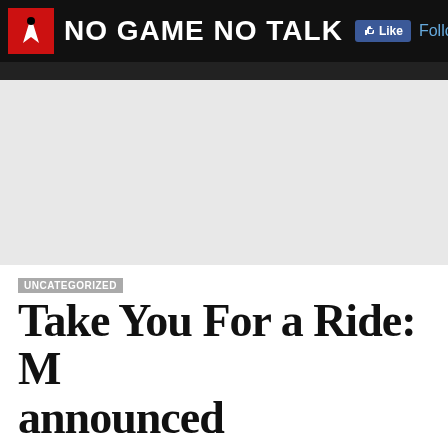NO GAME NO TALK | Like | Follow @nogamenob
[Figure (other): Gray advertisement placeholder area]
UNCATEGORIZED
Take You For a Ride: M announced
By Edward Pang on 21 April 2010 6:06pm - 0 Comments
Marvel vs. Capcom 3 was announced by Capcom yesterday. You can v trailer above